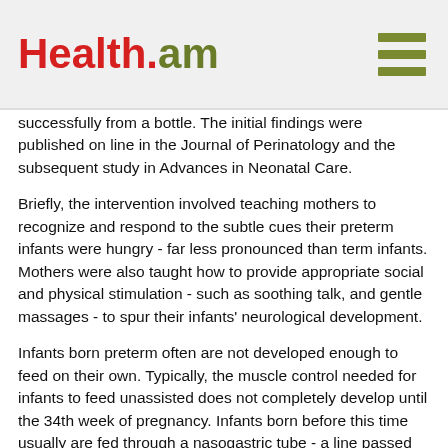Health.am
successfully from a bottle. The initial findings were published on line in the Journal of Perinatology and the subsequent study in Advances in Neonatal Care.
Briefly, the intervention involved teaching mothers to recognize and respond to the subtle cues their preterm infants were hungry - far less pronounced than term infants. Mothers were also taught how to provide appropriate social and physical stimulation - such as soothing talk, and gentle massages - to spur their infants' neurological development.
Infants born preterm often are not developed enough to feed on their own. Typically, the muscle control needed for infants to feed unassisted does not completely develop until the 34th week of pregnancy. Infants born before this time usually are fed through a nasogastric tube - a line passed through the nose and down the throat into the stomach.
The study authors developed the intervention to help mothers stimulate their infant's alertness before feeding so